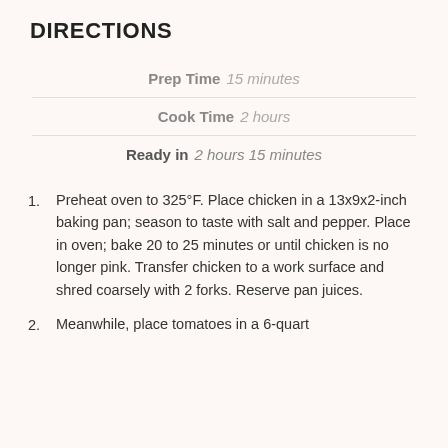DIRECTIONS
Prep Time  15 minutes
Cook Time  2 hours
Ready in  2 hours 15 minutes
Preheat oven to 325°F. Place chicken in a 13x9x2-inch baking pan; season to taste with salt and pepper. Place in oven; bake 20 to 25 minutes or until chicken is no longer pink. Transfer chicken to a work surface and shred coarsely with 2 forks. Reserve pan juices.
Meanwhile, place tomatoes in a 6-quart